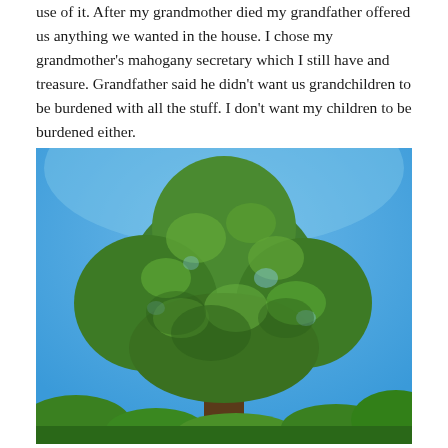use of it. After my grandmother died my grandfather offered us anything we wanted in the house. I chose my grandmother's mahogany secretary which I still have and treasure. Grandfather said he didn't want us grandchildren to be burdened with all the stuff. I don't want my children to be burdened either.
[Figure (photo): A large, full green deciduous tree photographed against a bright blue sky. The tree has a dense, rounded canopy with lush green foliage. Smaller trees and shrubs are visible at the bottom edges of the image.]